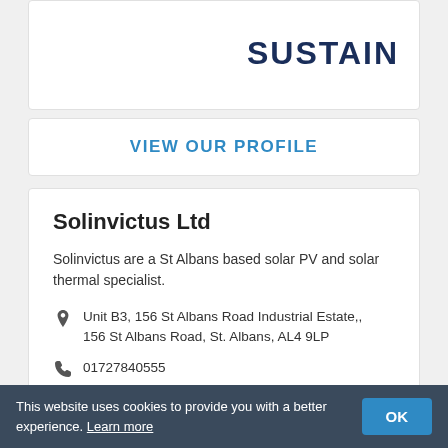[Figure (logo): SUSTAIN logo in dark navy bold text]
VIEW OUR PROFILE
Solinvictus Ltd
Solinvictus are a St Albans based solar PV and solar thermal specialist.
Unit B3, 156 St Albans Road Industrial Estate,, 156 St Albans Road, St. Albans, AL4 9LP
01727840555
This website uses cookies to provide you with a better experience. Learn more